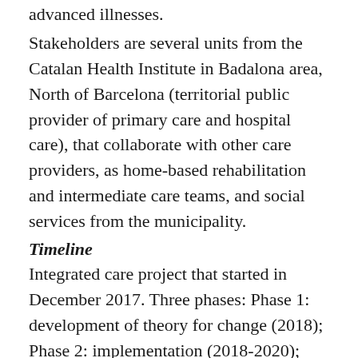advanced illnesses.
Stakeholders are several units from the Catalan Health Institute in Badalona area, North of Barcelona (territorial public provider of primary care and hospital care), that collaborate with other care providers, as home-based rehabilitation and intermediate care teams, and social services from the municipality.
Timeline
Integrated care project that started in December 2017. Three phases: Phase 1: development of theory for change (2018); Phase 2: implementation (2018-2020); Phase 3: evaluation (2021).
Highlights
7 multidisciplinary units in the community were involved (5 primary care units, 1 hospital-at-home unit, 1 palliative care unit); and they all have...